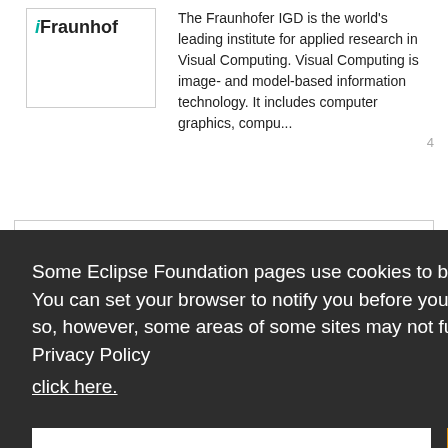[Figure (logo): Fraunhofer IGD logo with italic 'i' in teal and 'Fraunhof' text in bold]
The Fraunhofer IGD is the world's leading institute for applied research in Visual Computing. Visual Computing is image- and model-based information technology. It includes computer graphics, compu...
Some Eclipse Foundation pages use cookies to better serve you when you return to the site. You can set your browser to notify you before you receive a cookie or turn off cookies. If you do so, however, some areas of some sites may not function properly. To read Eclipse Foundation Privacy Policy
click here.